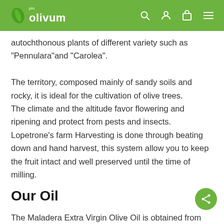pro olivum
autochthonous plants of different variety such as "Pennulara"and "Carolea".
The territory, composed mainly of sandy soils and rocky, it is ideal for the cultivation of olive trees. The climate and the altitude favor flowering and ripening and protect from pests and insects. Lopetrone's farm Harvesting is done through beating down and hand harvest, this system allow you to keep the fruit intact and well preserved until the time of milling.
Our Oil
The Maladera Extra Virgin Olive Oil is obtained from organic agricolture, by selecting the olives with the best phytosanitary condition. The Oil's appearance is a significant green-olive-fruity scent with